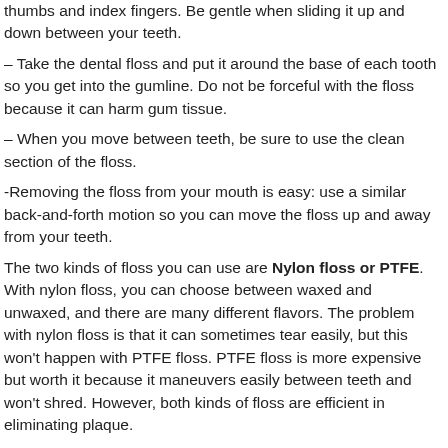thumbs and index fingers. Be gentle when sliding it up and down between your teeth.
– Take the dental floss and put it around the base of each tooth so you get into the gumline. Do not be forceful with the floss because it can harm gum tissue.
– When you move between teeth, be sure to use the clean section of the floss.
-Removing the floss from your mouth is easy: use a similar back-and-forth motion so you can move the floss up and away from your teeth.
The two kinds of floss you can use are Nylon floss or PTFE. With nylon floss, you can choose between waxed and unwaxed, and there are many different flavors. The problem with nylon floss is that it can sometimes tear easily, but this won't happen with PTFE floss. PTFE floss is more expensive but worth it because it maneuvers easily between teeth and won't shred. However, both kinds of floss are efficient in eliminating plaque.
For any questions about dental floss and clean teeth, contact us at Willow Dental Care Langley and we can give you all the information you